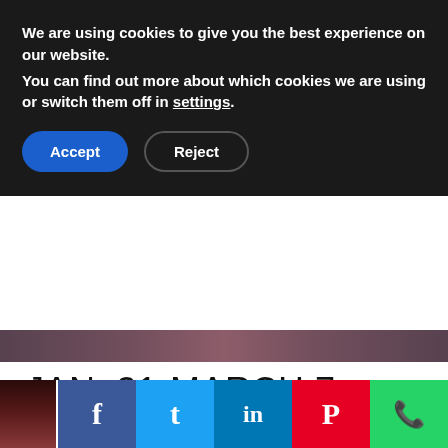We are using cookies to give you the best experience on our website.
You can find out more about which cookies we are using or switch them off in settings.
Accept | Reject
[Figure (photo): Decorative image strip showing a reddish-purple landscape scene]
JAN. 31-MARCH 7, 2020
The first edition of Desert X AlUla sees 14 large-scale sculptures by artists from Saudi Arabia, the Middle East and the US transform the landscape.
SPORTS
[Figure (photo): Sports photo with dark reddish background showing a figure with fireworks]
Share  f  t  in  P  WhatsApp